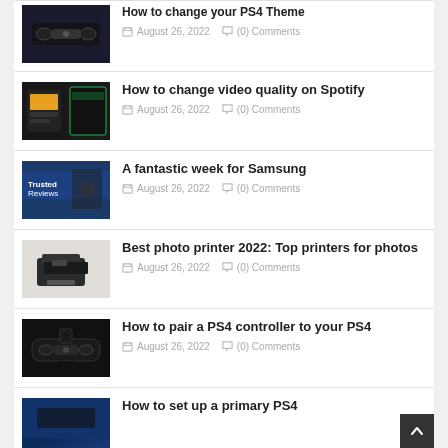How to change your PS4 Theme — August 26, 2022 (0) Comments
How to change video quality on Spotify — August 26, 2022 (0) Comments
A fantastic week for Samsung — August 26, 2022 (0) Comments
Best photo printer 2022: Top printers for photos — August 26, 2022 (0) Comments
How to pair a PS4 controller to your PS4 — August 26, 2022 (0) Comments
How to set up a primary PS4 — August 26, 2022